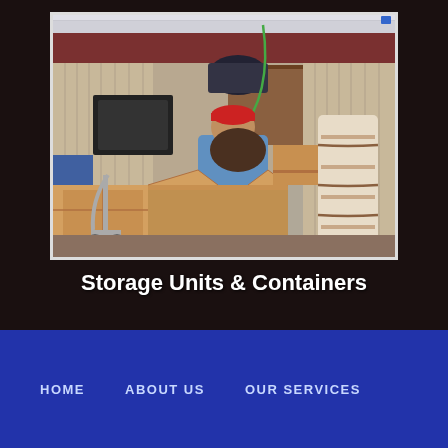[Figure (photo): Interior of a storage unit being loaded with boxes and household items. A person wearing a blue shirt and red cap is packing items including cardboard boxes, a hand truck, wrapped furniture, and miscellaneous belongings inside a metal-walled storage unit.]
Storage Units & Containers
HOME    ABOUT US    OUR SERVICES